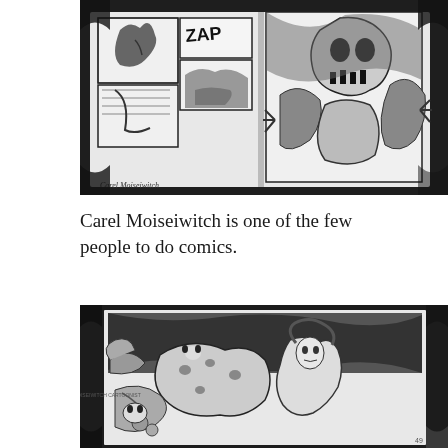[Figure (photo): Black and white photograph of open comic book pages laid on a surface. Left pages show comic panels with a character and the word 'ZAP' visible. Right page shows a large dramatic illustration of a skeletal or monstrous figure. The artist name 'Carel Moiseiwitch' appears in the lower left.]
Carel Moiseiwitch is one of the few people to do comics.
[Figure (photo): Black and white photograph of an open comic book showing a dynamic full-page illustration featuring a woman, a large cat-like creature, and other fantastical elements in a dramatic composition. Small vertical text visible on left margin.]